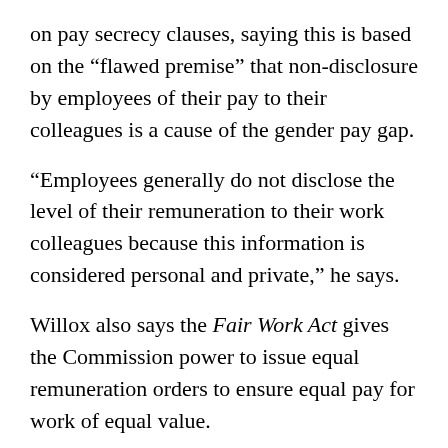on pay secrecy clauses, saying this is based on the “flawed premise” that non-disclosure by employees of their pay to their colleagues is a cause of the gender pay gap.
“Employees generally do not disclose the level of their remuneration to their work colleagues because this information is considered personal and private,” he says.
Willox also says the Fair Work Act gives the Commission power to issue equal remuneration orders to ensure equal pay for work of equal value.
Earlier this month, the federal government’s Workplace Gender Equality Agency confirmed that on average, men working full-time in Australia out earn women who work full-time